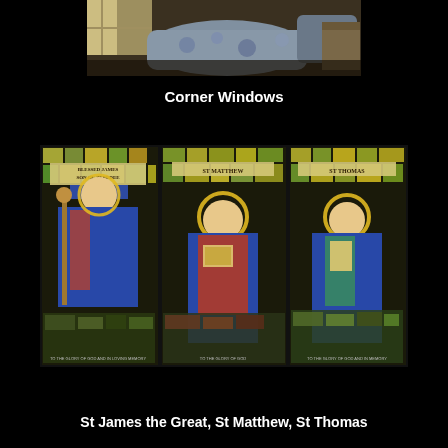[Figure (photo): Top portion of interior room photo showing cushioned furniture and window]
Corner Windows
[Figure (photo): Stained glass windows featuring three panels: St James the Great (left), St Matthew (center), St Thomas (right)]
St James the Great, St Matthew, St Thomas